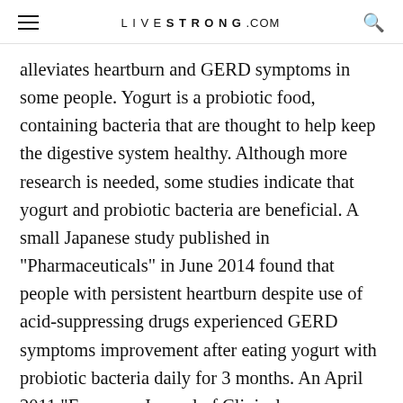LIVESTRONG.COM
alleviates heartburn and GERD symptoms in some people. Yogurt is a probiotic food, containing bacteria that are thought to help keep the digestive system healthy. Although more research is needed, some studies indicate that yogurt and probiotic bacteria are beneficial. A small Japanese study published in "Pharmaceuticals" in June 2014 found that people with persistent heartburn despite use of acid-suppressing drugs experienced GERD symptoms improvement after eating yogurt with probiotic bacteria daily for 3 months. An April 2011 "European Journal of Clinical Investigation" study noted faster stomach emptying and less reflux associated with use of a probiotic supplement in infants. It's unclear, however, if this